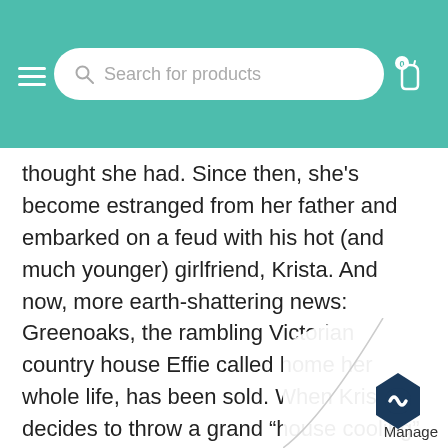Search for products
thought she had. Since then, she's become estranged from her father and embarked on a feud with his hot (and much younger) girlfriend, Krista. And now, more earth-shattering news: Greenoaks, the rambling Victorian country house Effie called home her whole life, has been sold. When Krista decides to throw a grand “house cooling” party, Effie is originally left off the guest list—and then receives a last-minute “anti-invitation” (maybe it’s because she called Krista a gold-digger, but Krista totally deserved it, and it was mostly a joke anyway). Effie declines, but then remembers a beloved childhood treasure is still hidden in the house. Her only chance to retrieve it is to break into Greenoaks while everyone busy celebrating. As Effie sneaks around the house under tables and peeping through trapdoors, sh